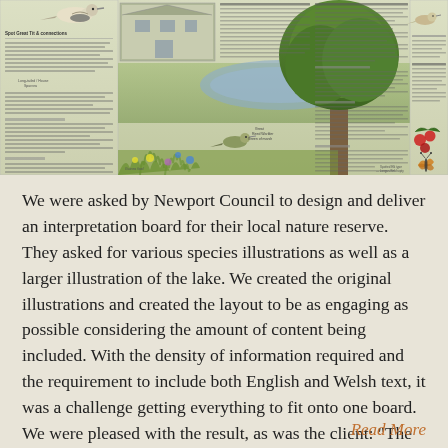[Figure (illustration): Interpretation board design for a local nature reserve featuring illustrations of birds, trees, a lake scene, buildings, butterflies, and berries with small text panels in English and Welsh.]
We were asked by Newport Council to design and deliver an interpretation board for their local nature reserve. They asked for various species illustrations as well as a larger illustration of the lake. We created the original illustrations and created the layout to be as engaging as possible considering the amount of content being included. With the density of information required and the requirement to include both English and Welsh text, it was a challenge getting everything to fit onto one board. We were pleased with the result, as was the client: “The board looks great! I am happy for it
Read More